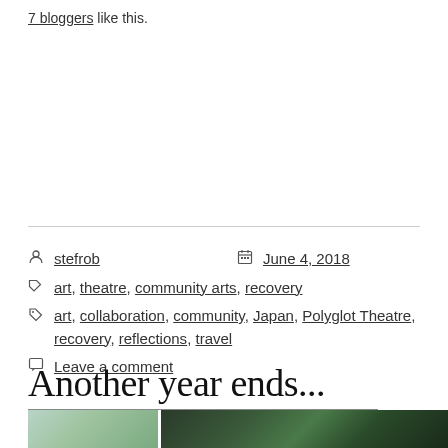7 bloggers like this.
stefrob  June 4, 2018
art, theatre, community arts, recovery
art, collaboration, community, Japan, Polyglot Theatre, recovery, reflections, travel
Leave a comment
Another year ends...
[Figure (photo): Two side-by-side photos showing plants/greenery, one with light blue background and one dark background]